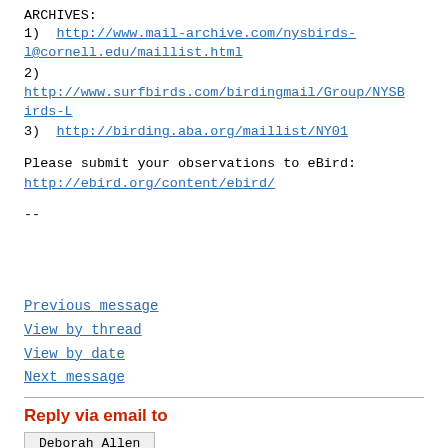ARCHIVES:
1) http://www.mail-archive.com/nysbirds-l@cornell.edu/maillist.html
2) http://www.surfbirds.com/birdingmail/Group/NYSBirds-L
3) http://birding.aba.org/maillist/NY01
Please submit your observations to eBird:
http://ebird.org/content/ebird/
--
Previous message
View by thread
View by date
Next message
Reply via email to
Deborah Allen